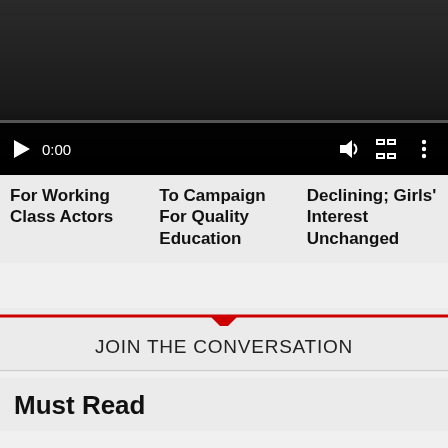[Figure (screenshot): Video player with dark background, playback controls showing play button, time 0:00, volume icon, fullscreen icon, and more options icon, with a progress bar at the bottom.]
For Working Class Actors
To Campaign For Quality Education
Declining; Girls' Interest Unchanged
JOIN THE CONVERSATION
Must Read